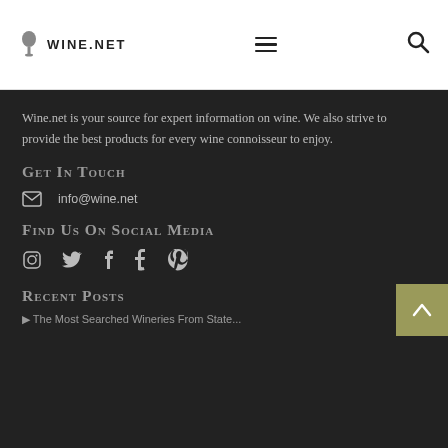WINE.NET
Wine.net is your source for expert information on wine. We also strive to provide the best products for every wine connoisseur to enjoy.
Get In Touch
info@wine.net
Find Us On Social Media
[Figure (other): Social media icons: Instagram, Twitter, Facebook, Tumblr, Pinterest]
Recent Posts
The Most Searched Wineries From State...